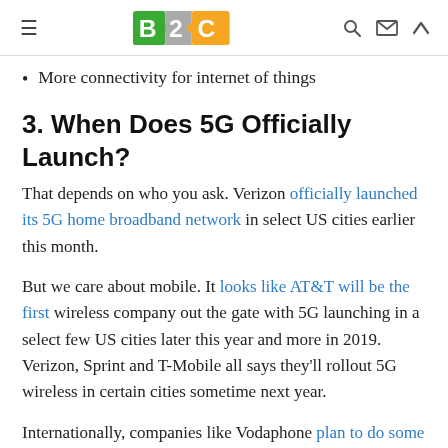B2C [logo] navigation header
More connectivity for internet of things
3. When Does 5G Officially Launch?
That depends on who you ask. Verizon officially launched its 5G home broadband network in select US cities earlier this month.
But we care about mobile. It looks like AT&T will be the first wireless company out the gate with 5G launching in a select few US cities later this year and more in 2019. Verizon, Sprint and T-Mobile all says they'll rollout 5G wireless in certain cities sometime next year.
Internationally, companies like Vodaphone plan to do some trialling with the network before committing to a firm date...